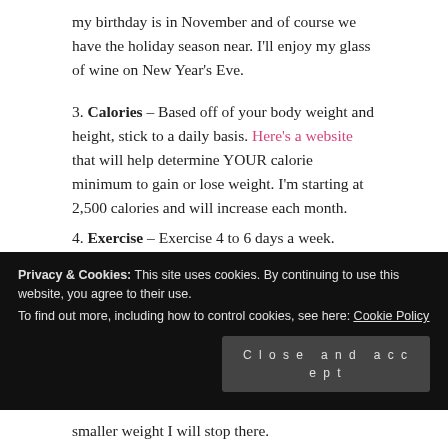my birthday is in November and of course we have the holiday season near. I'll enjoy my glass of wine on New Year's Eve.
3. Calories – Based off of your body weight and height, stick to a set amount of calories to consume on a daily basis. Here's a website that will help determine YOUR calorie minimum to gain or lose weight. I'm starting at 2,500 calories and will increase each month.
4. Exercise – Exercise 4 to 6 days a week. Weight lifting will be a big part of my exercise regimen. I have purchased some equipment and dvds to stick to exercising even at the house. No excuses!
Privacy & Cookies: This site uses cookies. By continuing to use this website, you agree to their use. To find out more, including how to control cookies, see here: Cookie Policy
smaller weight I will stop there.